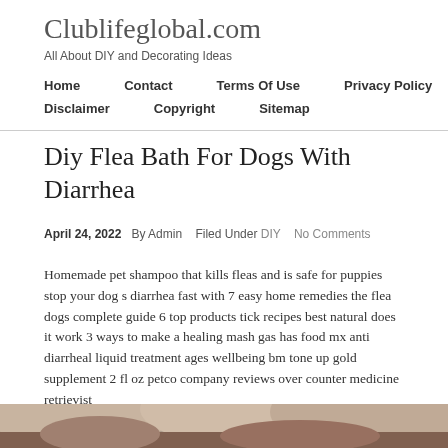Clublifeglobal.com
All About DIY and Decorating Ideas
Home
Contact
Terms Of Use
Privacy Policy
Disclaimer
Copyright
Sitemap
Diy Flea Bath For Dogs With Diarrhea
April 24, 2022  By Admin  Filed Under DIY  No Comments
Homemade pet shampoo that kills fleas and is safe for puppies stop your dog s diarrhea fast with 7 easy home remedies the flea dogs complete guide 6 top products tick recipes best natural does it work 3 ways to make a healing mash gas has food mx anti diarrheal liquid treatment ages wellbeing bm tone up gold supplement 2 fl oz petco company reviews over counter medicine retrievist
[Figure (photo): Bottom strip showing partial photo of a dog]